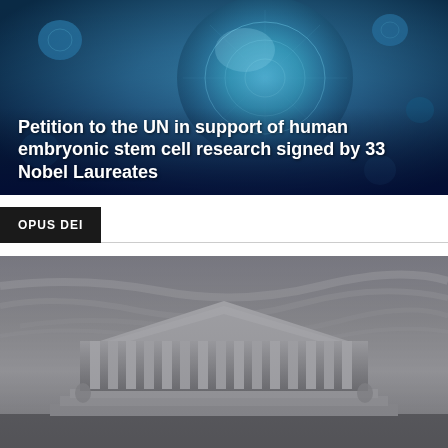[Figure (photo): Close-up photo of a blue cell (stem cell) against a dark blue microscopic background with other cells visible]
Petition to the UN in support of human embryonic stem cell research signed by 33 Nobel Laureates
OPUS DEI
[Figure (photo): Black and white dramatic low-angle photograph of the US Supreme Court building showing columns, pediment, and statues under a cloudy sky]